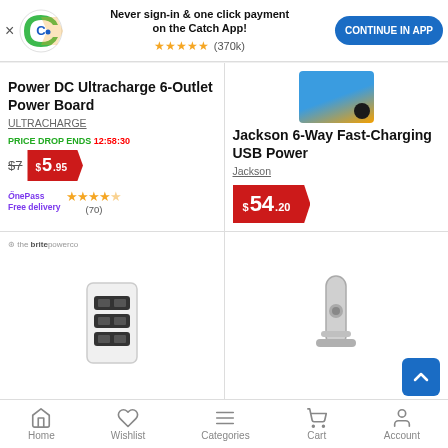[Figure (screenshot): Catch app banner with logo, text 'Never sign-in & one click payment on the Catch App!', star rating (370k reviews), and blue CONTINUE IN APP button]
Power DC Ultracharge 6-Outlet Power Board
ULTRACHARGE
PRICE DROP ENDS 12:58:30
$7  $5.95
OnePass Free delivery  ★★★★½ (70)
Jackson 6-Way Fast-Charging USB Power
Jackson
$54.20
FREE delivery  ★★★★★ (9)
[Figure (photo): Brite Power Co USB charger product image]
[Figure (photo): Power board/strip product image]